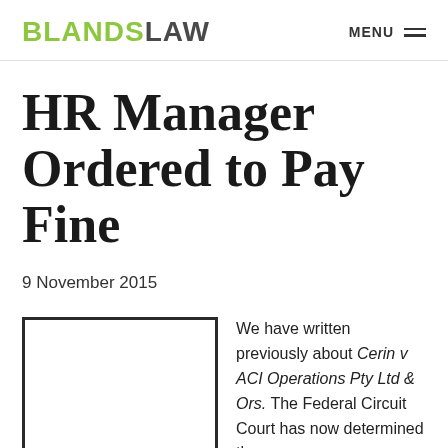BLANDSLAW  MENU
HR Manager Ordered to Pay Fine
9 November 2015
[Figure (photo): Image placeholder box (empty, bordered rectangle)]
We have written previously about Cerin v ACI Operations Pty Ltd & Ors. The Federal Circuit Court has now determined the